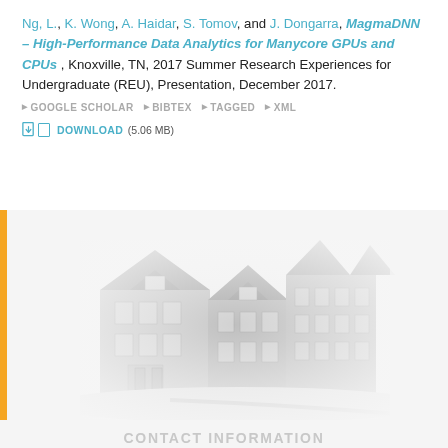Ng, L., K. Wong, A. Haidar, S. Tomov, and J. Dongarra, MagmaDNN – High-Performance Data Analytics for Manycore GPUs and CPUs, Knoxville, TN, 2017 Summer Research Experiences for Undergraduate (REU), Presentation, December 2017.
GOOGLE SCHOLAR | BIBTEX | TAGGED | XML
DOWNLOAD (5.06 MB)
[Figure (photo): Grayscale photo of a multi-story brick university building with a road leading to it, fading into white background at edges.]
CONTACT INFORMATION